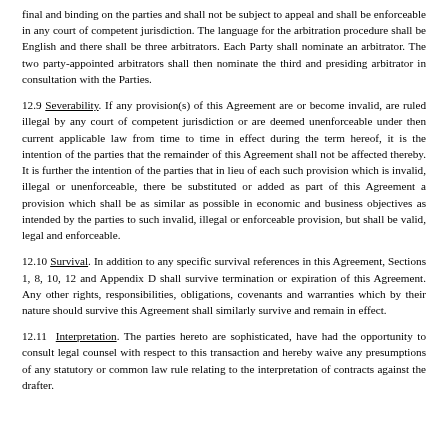final and binding on the parties and shall not be subject to appeal and shall be enforceable in any court of competent jurisdiction. The language for the arbitration procedure shall be English and there shall be three arbitrators. Each Party shall nominate an arbitrator. The two party-appointed arbitrators shall then nominate the third and presiding arbitrator in consultation with the Parties.
12.9 Severability. If any provision(s) of this Agreement are or become invalid, are ruled illegal by any court of competent jurisdiction or are deemed unenforceable under then current applicable law from time to time in effect during the term hereof, it is the intention of the parties that the remainder of this Agreement shall not be affected thereby. It is further the intention of the parties that in lieu of each such provision which is invalid, illegal or unenforceable, there be substituted or added as part of this Agreement a provision which shall be as similar as possible in economic and business objectives as intended by the parties to such invalid, illegal or enforceable provision, but shall be valid, legal and enforceable.
12.10 Survival. In addition to any specific survival references in this Agreement, Sections 1, 8, 10, 12 and Appendix D shall survive termination or expiration of this Agreement. Any other rights, responsibilities, obligations, covenants and warranties which by their nature should survive this Agreement shall similarly survive and remain in effect.
12.11 Interpretation. The parties hereto are sophisticated, have had the opportunity to consult legal counsel with respect to this transaction and hereby waive any presumptions of any statutory or common law rule relating to the interpretation of contracts against the drafter.